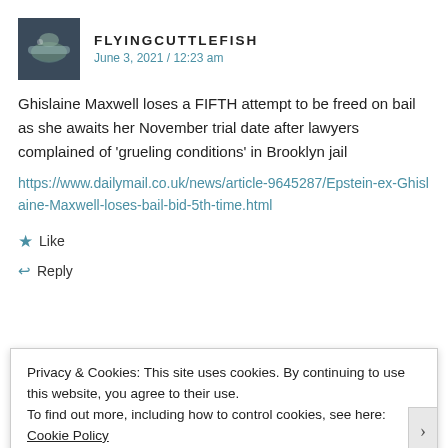FLYINGCUTTLEFISH
June 3, 2021 / 12:23 am
Ghislaine Maxwell loses a FIFTH attempt to be freed on bail as she awaits her November trial date after lawyers complained of 'grueling conditions' in Brooklyn jail
https://www.dailymail.co.uk/news/article-9645287/Epstein-ex-Ghislaine-Maxwell-loses-bail-bid-5th-time.html
Like
Reply
Advertisements
Privacy & Cookies: This site uses cookies. By continuing to use this website, you agree to their use.
To find out more, including how to control cookies, see here: Cookie Policy
Close and accept